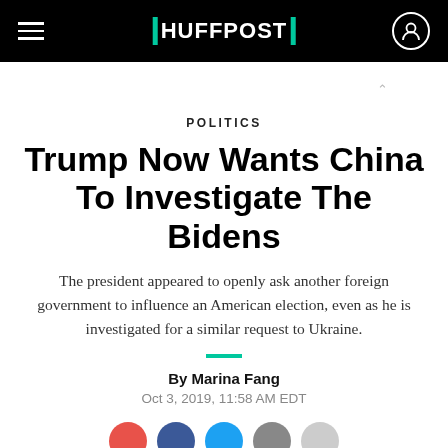HUFFPOST
POLITICS
Trump Now Wants China To Investigate The Bidens
The president appeared to openly ask another foreign government to influence an American election, even as he is investigated for a similar request to Ukraine.
By Marina Fang
Oct 3, 2019, 11:58 AM EDT